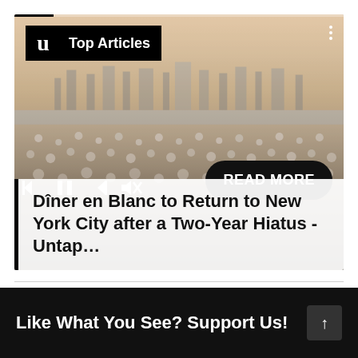[Figure (screenshot): News article card with photo of large outdoor crowd dressed in white (Dîner en Blanc event) with NYC skyline in background. Contains Untapped New York logo, 'Top Articles' label, media playback controls, READ MORE button, and article title overlay.]
Dîner en Blanc to Return to New York City after a Two-Year Hiatus - Untap…
Like What You See? Support Us!